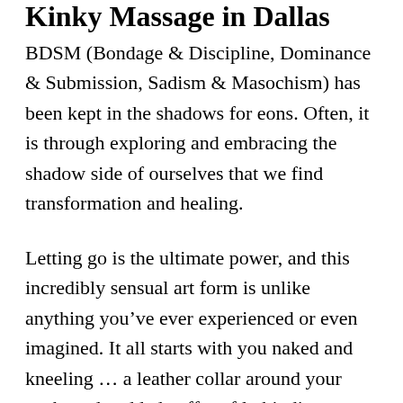Kinky Massage in Dallas
BDSM (Bondage & Discipline, Dominance & Submission, Sadism & Masochism) has been kept in the shadows for eons. Often, it is through exploring and embracing the shadow side of ourselves that we find transformation and healing.
Letting go is the ultimate power, and this incredibly sensual art form is unlike anything you've ever experienced or even imagined. It all starts with you naked and kneeling … a leather collar around your neck, and padded cuffs softly binding your wrists and ankles. Dallas is